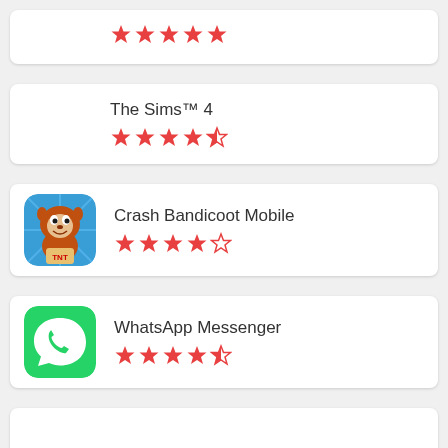[Figure (other): Partial app card showing 5 red stars rating (top of page, app cut off)]
The Sims™ 4, rating: 4.5 stars
Crash Bandicoot Mobile, rating: 4 stars
WhatsApp Messenger, rating: 4.5 stars
[Figure (other): Partial app card at bottom of page, app cut off]